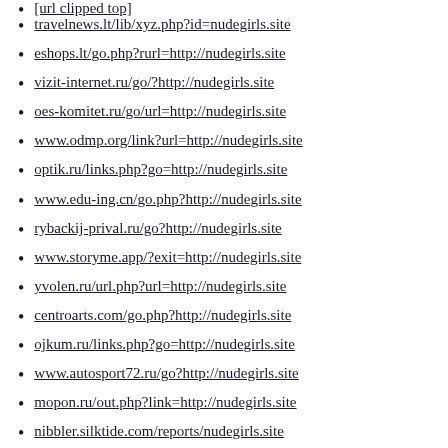travelnews.lt/lib/xyz.php?id=nudegirls.site
eshops.lt/go.php?rurl=http://nudegirls.site
vizit-internet.ru/go/?http://nudegirls.site
oes-komitet.ru/go/url=http://nudegirls.site
www.odmp.org/link?url=http://nudegirls.site
optik.ru/links.php?go=http://nudegirls.site
www.edu-ing.cn/go.php?http://nudegirls.site
rybackij-prival.ru/go?http://nudegirls.site
www.storyme.app/?exit=http://nudegirls.site
yvolen.ru/url.php?url=http://nudegirls.site
centroarts.com/go.php?http://nudegirls.site
ojkum.ru/links.php?go=http://nudegirls.site
www.autosport72.ru/go?http://nudegirls.site
mopon.ru/out.php?link=http://nudegirls.site
nibbler.silktide.com/reports/nudegirls.site
www.nwnights.ru/redirect/www.nudegirls.site
anekanews.net/?direct=http://nudegirls.site
sudak.me/redirect?url=http://nudegirls.site